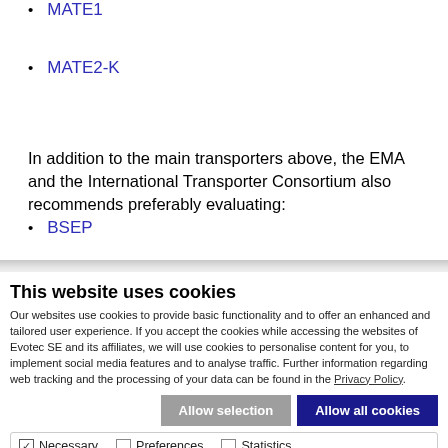MATE1
MATE2-K
In addition to the main transporters above, the EMA and the International Transporter Consortium also recommends preferably evaluating:
BSEP
This website uses cookies
Our websites use cookies to provide basic functionality and to offer an enhanced and tailored user experience. If you accept the cookies while accessing the websites of Evotec SE and its affiliates, we will use cookies to personalise content for you, to implement social media features and to analyse traffic. Further information regarding web tracking and the processing of your data can be found in the Privacy Policy.